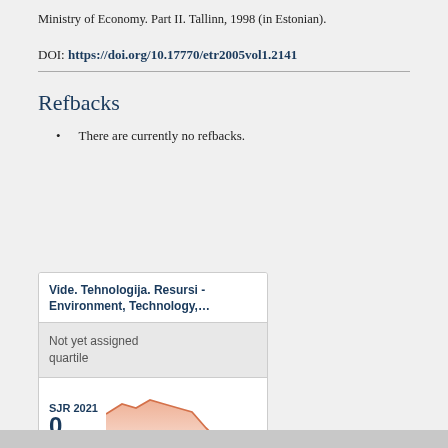Ministry of Economy. Part II. Tallinn, 1998 (in Estonian).
DOI: https://doi.org/10.17770/etr2005vol1.2141
Refbacks
There are currently no refbacks.
[Figure (infographic): SCImago journal widget showing 'Vide. Tehnologija. Resursi - Environment, Technology,...', 'Not yet assigned quartile', SJR 2021 value of 0, an area chart with salmon/orange color, and 'powered by scimagojr.com']